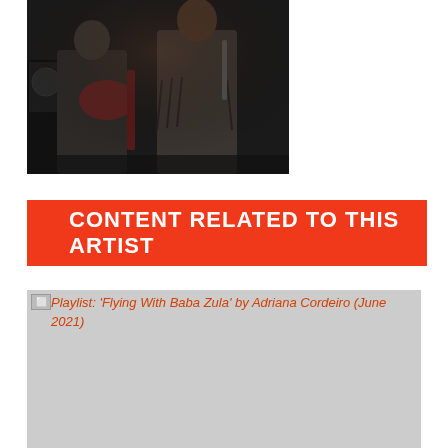[Figure (photo): Two musicians on stage, one playing guitar with fringe jacket, dark background with stage equipment]
CONTENT RELATED TO THIS ARTIST
[Figure (photo): Placeholder image for Playlist: 'Flying With Baba Zula' by Adriana Cordeiro (June 2021), shown as a grey rectangle with alt text visible]